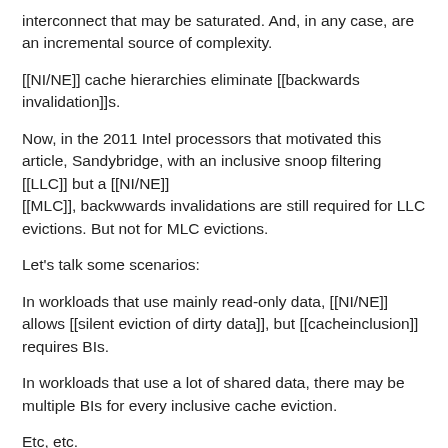interconnect that may be saturated. And, in any case, are an incremental source of complexity.
[[NI/NE]] cache hierarchies eliminate [[backwards invalidation]]s.
Now, in the 2011 Intel processors that motivated this article, Sandybridge, with an inclusive snoop filtering [[LLC]] but a [[NI/NE]] [[MLC]], backwwards invalidations are still required for LLC evictions. But not for MLC evictions.
Let's talk some scenarios:
In workloads that use mainly read-only data, [[NI/NE]] allows [[silent eviction of dirty data]], but [[cacheinclusion]] requires BIs.
In workloads that use a lot of shared data, there may be multiple BIs for every inclusive cache eviction.
Etc, etc.